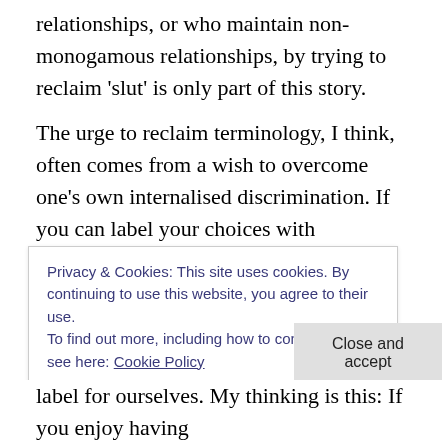relationships, or who maintain non-monogamous relationships, by trying to reclaim 'slut' is only part of this story.
The urge to reclaim terminology, I think, often comes from a wish to overcome one's own internalised discrimination. If you can label your choices with something supportive, it's easier to convince yourself that you and the way you feel are OK. It's an internal problem and not one that will be solved by feeling vindicated by society.
There will always be people who don't approve of our
Privacy & Cookies: This site uses cookies. By continuing to use this website, you agree to their use.
To find out more, including how to control cookies, see here: Cookie Policy
Close and accept
label for ourselves. My thinking is this: If you enjoy having